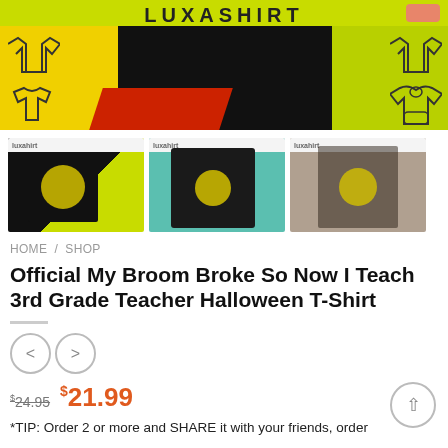LUXASHIRT
[Figure (screenshot): Luxashirt website banner with yellow-green and black background showing a black t-shirt with Halloween moon design, shirt category icons on sides]
[Figure (photo): Three thumbnail product photos of a black Halloween teacher t-shirt: front view on colorful background, long-sleeve version, and man wearing the shirt]
HOME / SHOP
Official My Broom Broke So Now I Teach 3rd Grade Teacher Halloween T-Shirt
< >
$24.95  $21.99
*TIP: Order 2 or more and SHARE it with your friends, order